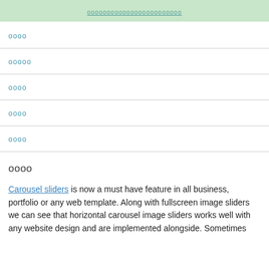ооооооооооооооооооооооооооооо
оооо
ооооо
оооо
оооо
оооо
оооо
Carousel sliders is now a must have feature in all business, portfolio or any web template. Along with fullscreen image sliders we can see that horizontal carousel image sliders works well with any website design and are implemented alongside. Sometimes